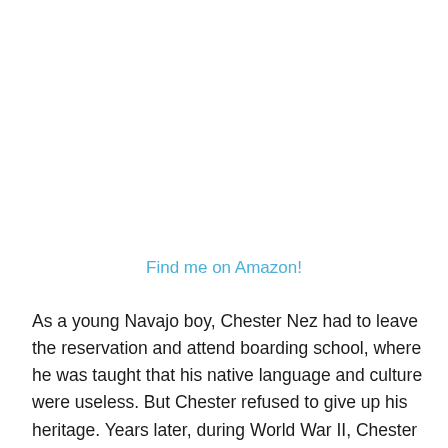Find me on Amazon!
As a young Navajo boy, Chester Nez had to leave the reservation and attend boarding school, where he was taught that his native language and culture were useless. But Chester refused to give up his heritage. Years later, during World War II, Chester—and other Navajo men like him—was recruited by the US Marines to use the Navajo language to create an unbreakable